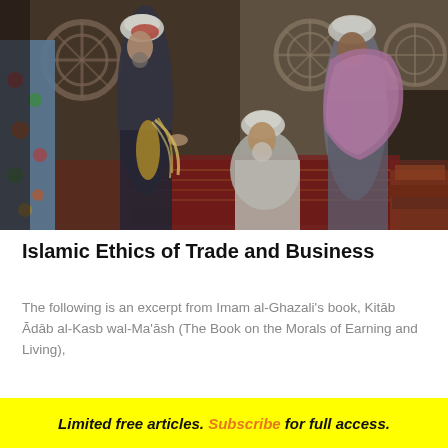[Figure (illustration): A painting depicting a traditional Middle Eastern marketplace scene with merchants in a bazaar. Several figures in turbans and robes are shown, some seated on rugs, others standing and conversing or trading. The setting features carved wooden architectural details and stone walls.]
Islamic Ethics of Trade and Business
The following is an excerpt from Imam al-Ghazali's book, Kitāb Ādāb al-Kasb wal-Ma'āsh (The Book on the Morals of Earning and Living),
Limited free articles. Subscribe for full access.